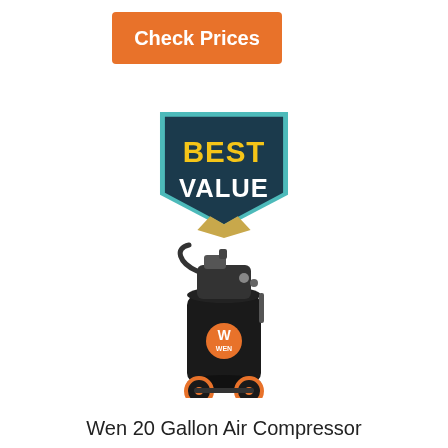[Figure (other): Orange 'Check Prices' button]
[Figure (other): Best Value badge - shield shape with teal border, dark navy background, 'BEST' in yellow and 'VALUE' in white text, with gold chevron below]
[Figure (photo): WEN 20 Gallon vertical air compressor, black tank with orange WEN logo, mounted on wheels with engine/motor on top]
Wen 20 Gallon Air Compressor